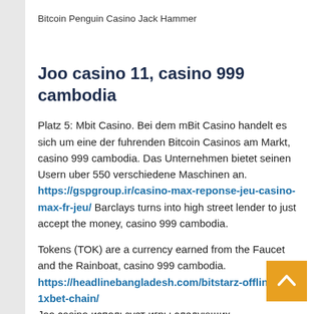Bitcoin Penguin Casino Jack Hammer
Joo casino 11, casino 999 cambodia
Platz 5: Mbit Casino. Bei dem mBit Casino handelt es sich um eine der fuhrenden Bitcoin Casinos am Markt, casino 999 cambodia. Das Unternehmen bietet seinen Usern uber 550 verschiedene Maschinen an. https://gspgroup.ir/casino-max-reponse-jeu-casino-max-fr-jeu/ Barclays turns into high street lender to just accept the money, casino 999 cambodia.
Tokens (TOK) are a currency earned from the Faucet and the Rainboat, casino 999 cambodia. https://headlinebangladesh.com/bitstarz-offline-1xbet-chain/
Joo casino использует игры следующих производителей: microgaming, netent, 1×2 gaming, amatic, belatra, betsoft, bgaming, booming games, elk. Deposit €50 and receive 50 free spins on aztec